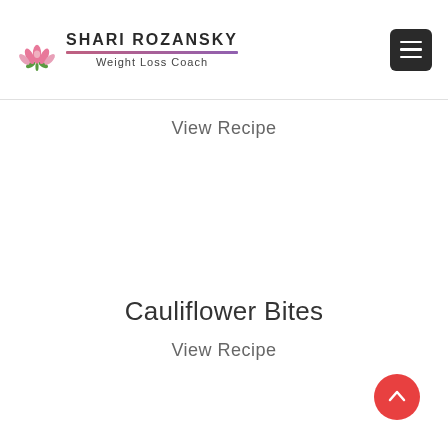Shari Rozansky — Weight Loss Coach
View Recipe
Cauliflower Bites
View Recipe